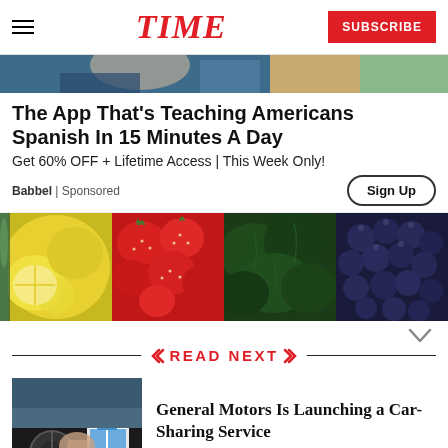TIME | SUBSCRIBE
[Figure (photo): Partial hero image showing a person, cropped at top of page]
The App That's Teaching Americans Spanish In 15 Minutes A Day
Get 60% OFF + Lifetime Access | This Week Only!
Babbel | Sponsored
[Figure (photo): Food strip showing four panels: lemons, strawberries, kale, blueberries]
READ NEXT
General Motors Is Launching a Car-Sharing Service
[Figure (photo): Thumbnail of a person in a car using a navigation app on their phone]